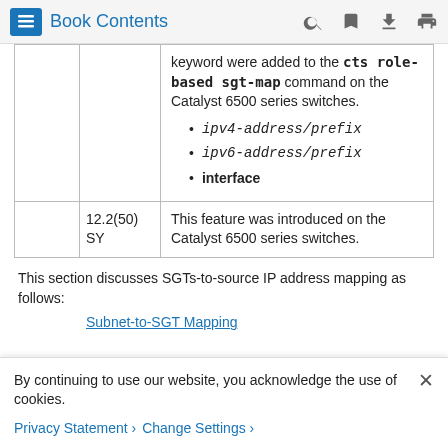Book Contents
|  |  | keyword were added to the cts role-based sgt-map command on the Catalyst 6500 series switches.
• ipv4-address/prefix
• ipv6-address/prefix
• interface |
|  | 12.2(50) SY | This feature was introduced on the Catalyst 6500 series switches. |
This section discusses SGTs-to-source IP address mapping as follows:
Subnet-to-SGT Mapping
By continuing to use our website, you acknowledge the use of cookies.
Privacy Statement > Change Settings >